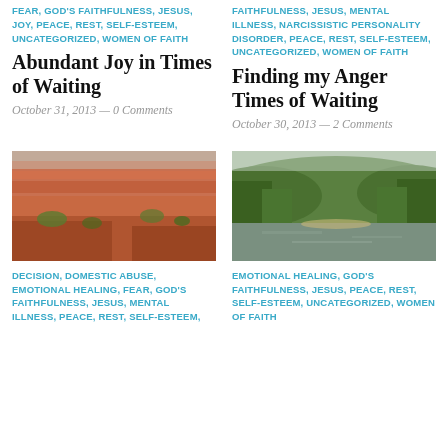FEAR, GOD'S FAITHFULNESS, JESUS, JOY, PEACE, REST, SELF-ESTEEM, UNCATEGORIZED, WOMEN OF FAITH
Abundant Joy in Times of Waiting
October 31, 2013 — 0 Comments
FAITHFULNESS, JESUS, MENTAL ILLNESS, NARCISSISTIC PERSONALITY DISORDER, PEACE, REST, SELF-ESTEEM, UNCATEGORIZED, WOMEN OF FAITH
Finding my Anger Times of Waiting
October 30, 2013 — 2 Comments
[Figure (photo): Red rock canyon landscape with scattered trees and eroded terrain]
[Figure (photo): Green forested river scene with calm water and hills in background]
DECISION, DOMESTIC ABUSE, EMOTIONAL HEALING, FEAR, GOD'S FAITHFULNESS, JESUS, MENTAL ILLNESS, PEACE, REST, SELF-ESTEEM,
EMOTIONAL HEALING, GOD'S FAITHFULNESS, JESUS, PEACE, REST, SELF-ESTEEM, UNCATEGORIZED, WOMEN OF FAITH